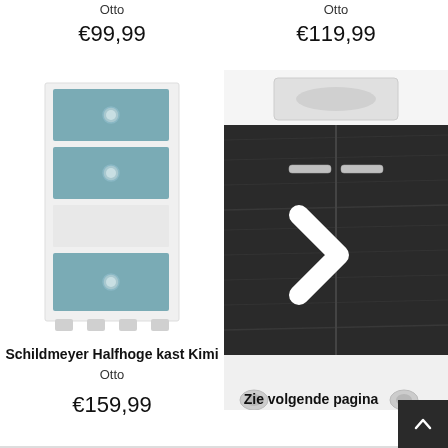Otto
€99,99
Otto
€119,99
[Figure (photo): Schildmeyer Halfhoge kast Kimi - white and teal/blue-grey cabinet with two drawers, open shelf, and one door with round handles]
[Figure (photo): Dark grey/black cabinet on wheels with two doors and bar handles, showing a right-arrow navigation chevron in white]
Schildmeyer Halfhoge kast Kimi
Otto
€159,99
Zie volgende pagina